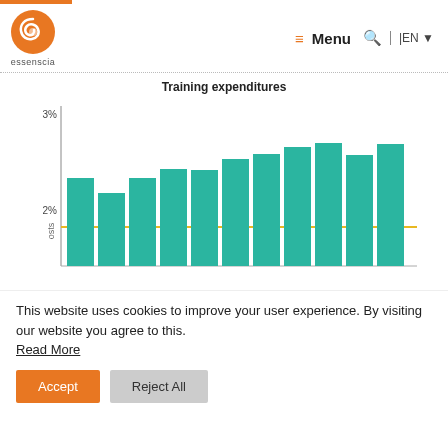[Figure (logo): Essenscia orange spiral logo with text 'essenscia' below]
[Figure (bar-chart): Training expenditures]
This website uses cookies to improve your user experience. By visiting our website you agree to this. Read More
Accept
Reject All